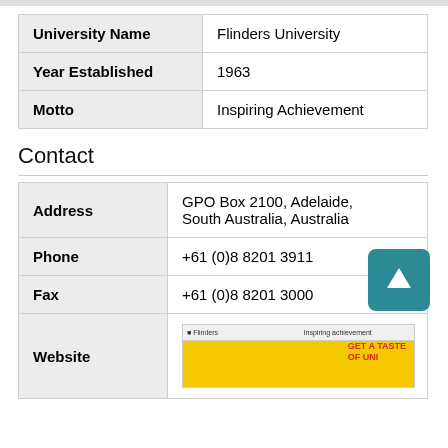|  |  |
| --- | --- |
| University Name | Flinders University |
| Year Established | 1963 |
| Motto | Inspiring Achievement |
Contact
|  |  |
| --- | --- |
| Address | GPO Box 2100, Adelaide, South Australia, Australia |
| Phone | +61 (0)8 8201 3911 |
| Fax | +61 (0)8 8201 3000 |
| Website | [screenshot of Flinders University website] |